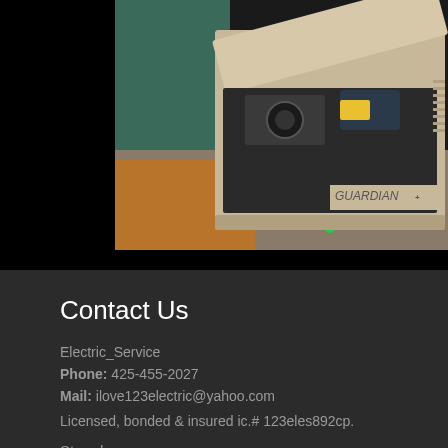[Figure (photo): A Generac Guardian standby generator with open lid, showing engine components inside a beige enclosure, positioned outdoors near a green structure with autumn leaves on the ground.]
Contact Us
Electric_Service
Phone: 425-455-2027
Mail: ilove123electric@yahoo.com
Licensed, bonded & insured ic.# 123eles892cp.
Store hours